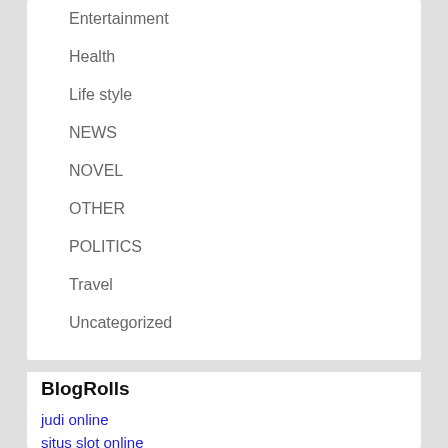Entertainment
Health
Life style
NEWS
NOVEL
OTHER
POLITICS
Travel
Uncategorized
BlogRolls
judi online
situs slot online
slot gacor hari ini